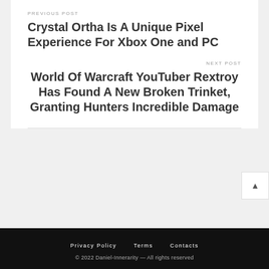PREVIOUS POST
Crystal Ortha Is A Unique Pixel Experience For Xbox One and PC
NEXT POST
World Of Warcraft YouTuber Rextroy Has Found A New Broken Trinket, Granting Hunters Incredible Damage
Privacy Policy   Terms   Contacts
© 2022 Daniel-Innerarity — All rights reserved